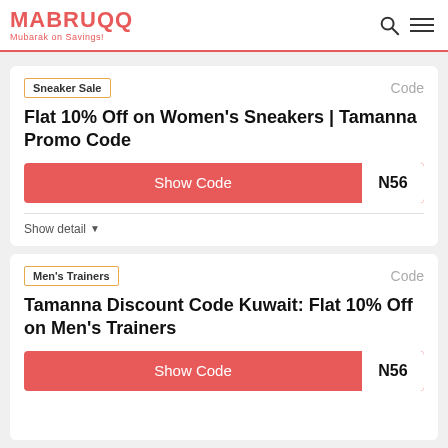MABRUQQ Mubarak on Savings!
Flat 10% Off on Women's Sneakers | Tamanna Promo Code
Sneaker Sale | Code
Show Code | N156
Show detail
Tamanna Discount Code Kuwait: Flat 10% Off on Men's Trainers
Men's Trainers | Code
Show Code | N156